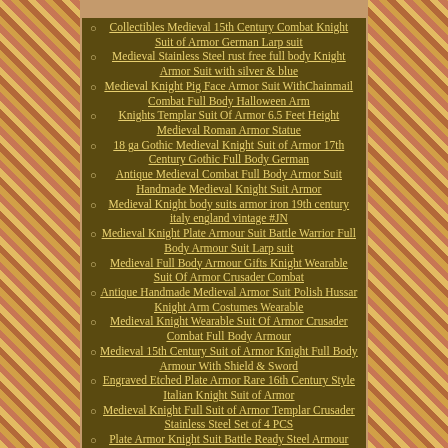Collectibles Medieval 15th Century Combat Knight Suit of Armor German Larp suit
Medieval Stainless Steel rust free full body Knight Armor Suit with silver & blue
Medieval Knight Pig Face Armor Suit WithChainmail Combat Full Body Halloween Arm
Knights Templar Suit Of Armor 6.5 Feet Height Medieval Roman Armor Statue
18 ga Gothic Medieval Knight Suit of Armor 17th Century Gothic Full Body German
Antique Medieval Combat Full Body Armor Suit Handmade Medieval Knight Suit Armor
Medieval Knight body suits armor iron 19th century italy england vintage #JN
Medieval Knight Plate Armour Suit Battle Warrior Full Body Armour Suit Larp suit
Medieval Full Body Armour Gifts Knight Wearable Suit Of Armor Crusader Combat
Antique Handmade Medieval Armor Suit Polish Hussar Knight Arm Costumes Wearable
Medieval Knight Wearable Suit Of Armor Crusader Combat Full Body Armour
Medieval 15th Century Suit of Armor Knight Full Body Armour With Shield & Sword
Engraved Etched Plate Armor Rare 16th Century Style Italian Knight Suit of Armor
Medieval Knight Full Suit of Armor Templar Crusader Stainless Steel Set of 4 PCS
Plate Armor Knight Suit Battle Ready Steel Armour Suit Full